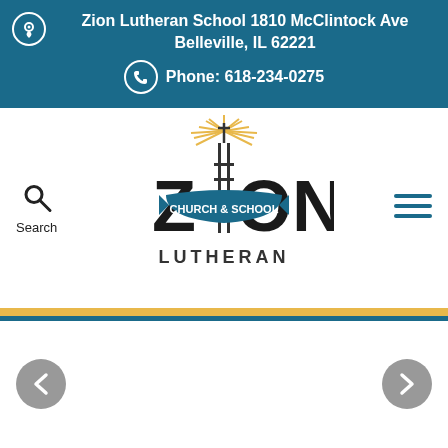Zion Lutheran School 1810 McClintock Ave Belleville, IL 62221
Phone: 618-234-0275
[Figure (logo): Zion Lutheran Church & School logo with steeple and star burst, text ZION LUTHERAN with CHURCH & SCHOOL banner]
[Figure (other): Navigation bar with search icon and hamburger menu icon]
[Figure (other): Carousel with left and right navigation arrow buttons on a white background]